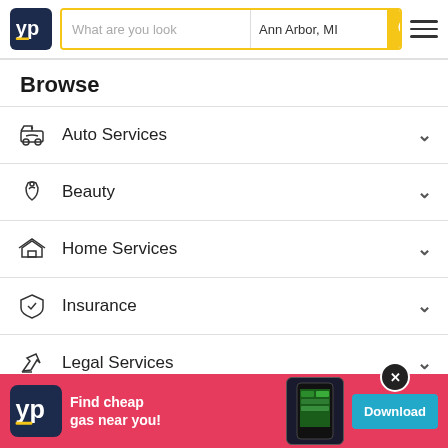YP — What are you looking for? Ann Arbor, MI
Browse
Auto Services
Beauty
Home Services
Insurance
Legal Services
Medical Services
Pet Services
Re...
[Figure (screenshot): YP app advertisement banner: Find cheap gas near you! Download button. Close button visible.]